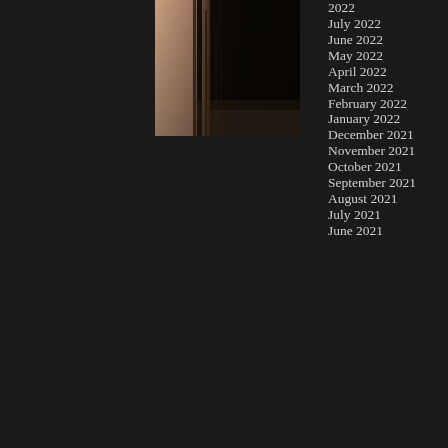[Figure (photo): A dark, blurry close-up photograph showing what appears to be hair or a dark curtain with some warm/pink tones on the left side]
2022
July 2022
June 2022
May 2022
April 2022
March 2022
February 2022
January 2022
December 2021
November 2021
October 2021
September 2021
August 2021
July 2021
June 2021